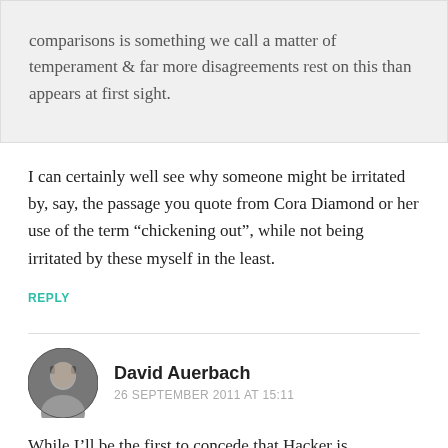comparisons is something we call a matter of temperament & far more disagreements rest on this than appears at first sight.
I can certainly well see why someone might be irritated by, say, the passage you quote from Cora Diamond or her use of the term “chickening out”, while not being irritated by these myself in the least.
REPLY
David Auerbach
26 SEPTEMBER 2011 AT 15:11
While I’ll be the first to concede that Hacker is uncharitable (in general!), his caricaturing of the “revisionist” (for lack of a better term) position as deconstructionist doesn’t disqualify what I still think are